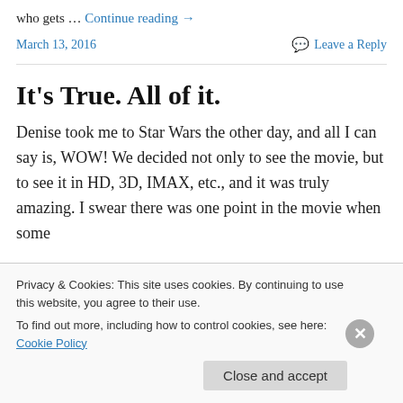who gets … Continue reading →
March 13, 2016    Leave a Reply
It's True. All of it.
Denise took me to Star Wars the other day, and all I can say is, WOW! We decided not only to see the movie, but to see it in HD, 3D, IMAX, etc., and it was truly amazing. I swear there was one point in the movie when some
Privacy & Cookies: This site uses cookies. By continuing to use this website, you agree to their use. To find out more, including how to control cookies, see here: Cookie Policy
Close and accept